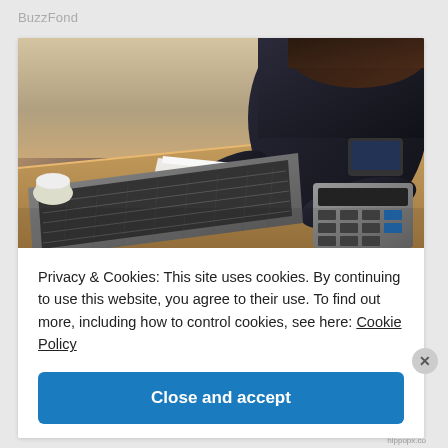BuzzFond
[Figure (photo): A woman in a dark blazer working at a desk with a laptop and calculator, handling papers, viewed from above at an angle.]
Privacy & Cookies: This site uses cookies. By continuing to use this website, you agree to their use. To find out more, including how to control cookies, see here: Cookie Policy
Close and accept